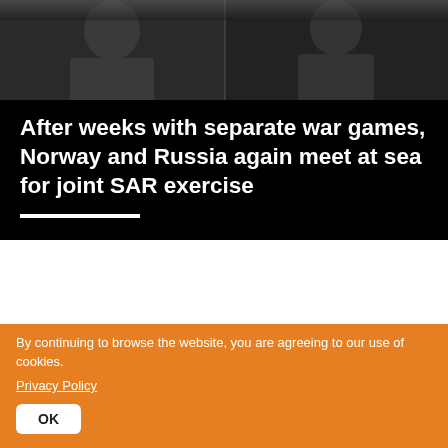[Figure (photo): Two figures in dark clothing, background blurred, black and white/dark toned hero image split into two panels]
After weeks with separate war games, Norway and Russia again meet at sea for joint SAR exercise
[Figure (photo): Black and white headshot of Thomas Nilsen, male journalist]
Text og photo: Thomas Nilsen
By continuing to browse the website, you are agreeing to our use of cookies. Privacy Policy
OK